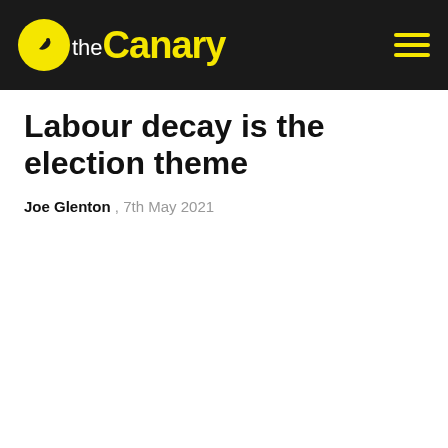the Canary
Labour decay is the election theme
Joe Glenton , 7th May 2021